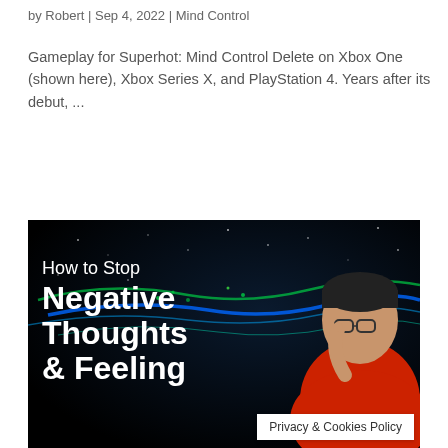by Robert | Sep 4, 2022 | Mind Control
Gameplay for Superhot: Mind Control Delete on Xbox One (shown here), Xbox Series X, and PlayStation 4. Years after its debut, ...
[Figure (photo): Thumbnail image showing a person pointing to their head with text 'How to Stop Negative Thoughts & Feelings' on a dark background with glowing light streaks]
Privacy & Cookies Policy